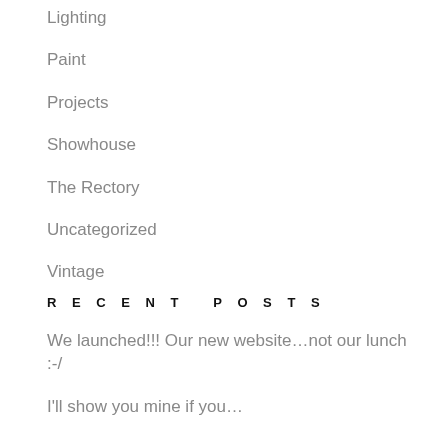Lighting
Paint
Projects
Showhouse
The Rectory
Uncategorized
Vintage
RECENT POSTS
We launched!!! Our new website…not our lunch :-/
I'll show you mine if you…